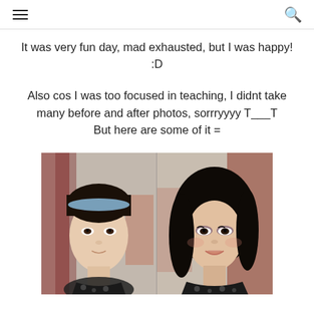☰  🔍
It was very fun day, mad exhausted, but I was happy! :D
Also cos I was too focused in teaching, I didnt take many before and after photos, sorrryyyy T___T
But here are some of it =
[Figure (photo): Before and after makeup photos of a young Asian woman side by side. Left: before, with blue headband, no makeup. Right: after, with full makeup, dark hair styled down.]